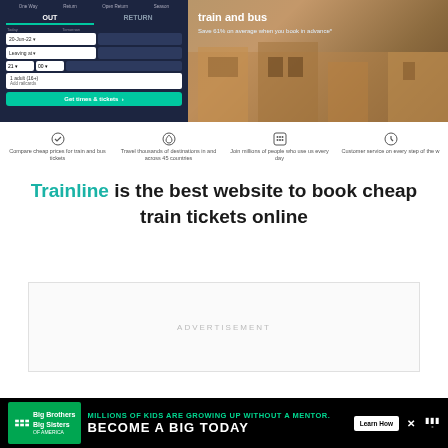[Figure (screenshot): Trainline website hero section showing a booking form on dark navy background (OUT/RETURN tabs, date selectors, time dropdowns, passenger selector, Get times & tickets button) on the left, and a Venice building photo with headline on the right]
Compare cheap prices for train and bus tickets
Travel thousands of destinations in and across 45 countries
Join millions of people who use us every day
Customer service on every step of the way
Trainline is the best website to book cheap train tickets online
ADVERTISEMENT
[Figure (advertisement): Big Brothers Big Sisters banner ad: green logo on left, 'MILLIONS OF KIDS ARE GROWING UP WITHOUT A MENTOR. BECOME A BIG TODAY' in white/green text on black background, Learn How button, close X button, weather widget on right]